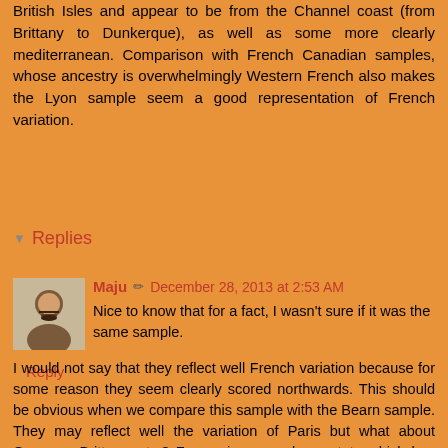British Isles and appear to be from the Channel coast (from Brittany to Dunkerque), as well as some more clearly mediterranean. Comparison with French Canadian samples, whose ancestry is overwhelmingly Western French also makes the Lyon sample seem a good representation of French variation.
Reply
Replies
Maju  December 28, 2013 at 2:53 AM
Nice to know that for a fact, I wasn't sure if it was the same sample.
I would not say that they reflect well French variation because for some reason they seem clearly scored northwards. This should be obvious when we compare this sample with the Bearn sample. They may reflect well the variation of Paris but what about Gascony, Brittany, etc.? France is a very large state which has played a